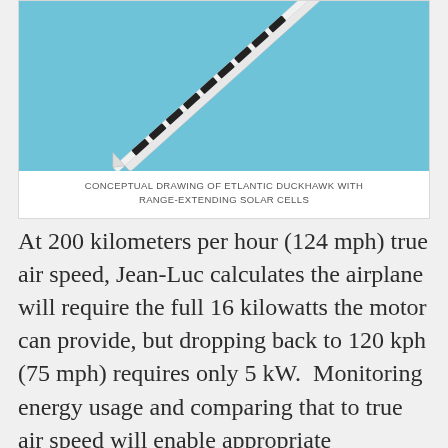[Figure (illustration): Conceptual drawing of the Etlantic Duckhawk aircraft with range-extending solar cells, shown as a white elongated glider-type plane with dark solar panels on the wings, against a light blue sky background.]
CONCEPTUAL DRAWING OF ETLANTIC DUCKHAWK WITH RANGE-EXTENDING SOLAR CELLS
At 200 kilometers per hour (124 mph) true air speed, Jean-Luc calculates the airplane will require the full 16 kilowatts the motor can provide, but dropping back to 120 kph (75 mph) requires only 5 kW.  Monitoring energy usage and comparing that to true air speed will enable appropriate modulation of current draw.  Chasing the most helpful winds will test navigation and piloting skills.